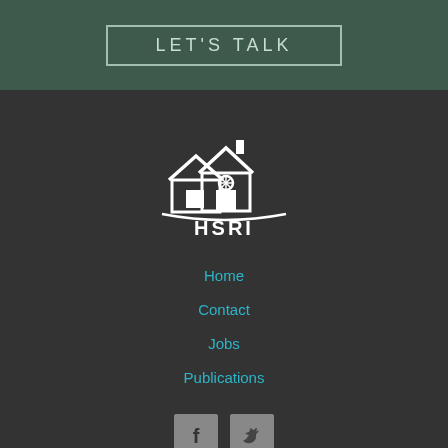LET'S TALK
[Figure (logo): HSRI logo — white house/building icon above the text HSRI with a curved underline, on dark background]
Home
Contact
Jobs
Publications
[Figure (other): Social media icons: Facebook and Twitter buttons with grey square backgrounds]